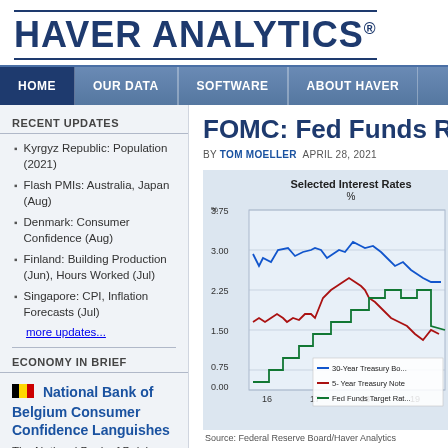HAVER ANALYTICS®
HOME | OUR DATA | SOFTWARE | ABOUT HAVER
RECENT UPDATES
Kyrgyz Republic: Population (2021)
Flash PMIs: Australia, Japan (Aug)
Denmark: Consumer Confidence (Aug)
Finland: Building Production (Jun), Hours Worked (Jul)
Singapore: CPI, Inflation Forecasts (Jul)
more updates...
ECONOMY IN BRIEF
National Bank of Belgium Consumer Confidence Languishes
The National Bank of Belgium index for consumer confidence rose to -11 in August...
FOMC: Fed Funds R
BY TOM MOELLER  APRIL 28, 2021
[Figure (line-chart): Selected Interest Rates %]
Source: Federal Reserve Board/Haver Analytics